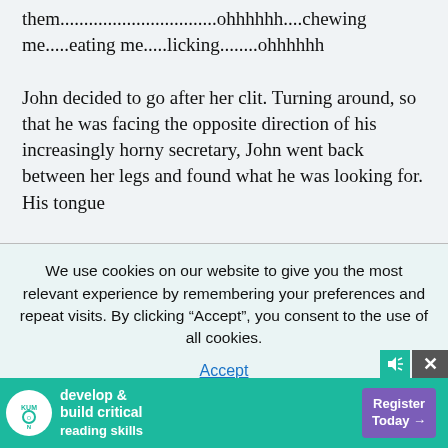them.................................ohhhhhh....chewing me.....eating me.....licking........ohhhhhh
John decided to go after her clit. Turning around, so that he was facing the opposite direction of his increasingly horny secretary, John went back between her legs and found what he was looking for. His tongue
We use cookies on our website to give you the most relevant experience by remembering your preferences and repeat visits. By clicking “Accept”, you consent to the use of all cookies.
Accept
John's hands went to her ass and grabbed hold firmly, making sure she didn't go anywhere, and brought her pussy down to
[Figure (screenshot): Kumon advertisement banner: teal/green background with Kumon logo (white circle with teal text), text 'develop & build critical reading skills' in white bold, and purple 'Register Today ->' button on right. Close button (X) on far right.]